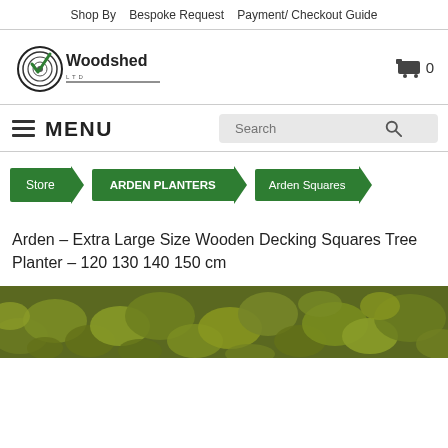Shop By   Bespoke Request   Payment/ Checkout Guide
[Figure (logo): Woodshed Ltd logo with circular wood grain graphic and text]
0
MENU
Store
ARDEN PLANTERS
Arden Squares
Arden – Extra Large Size Wooden Decking Squares Tree Planter – 120 130 140 150 cm
[Figure (photo): Dense green foliage/tree canopy photo, partially visible at bottom of page]